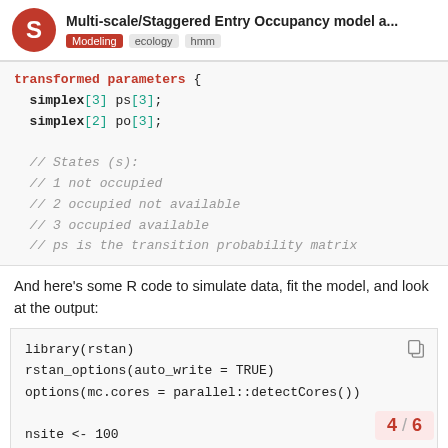Multi-scale/Staggered Entry Occupancy model a... | Modeling | ecology | hmm
transformed parameters {
  simplex[3] ps[3];
  simplex[2] po[3];

  // States (s):
  // 1 not occupied
  // 2 occupied not available
  // 3 occupied available
  // ps is the transition probability matrix
And here's some R code to simulate data, fit the model, and look at the output:
library(rstan)
rstan_options(auto_write = TRUE)
options(mc.cores = parallel::detectCores())

nsite <- 100
ntime <- 20
4 / 6